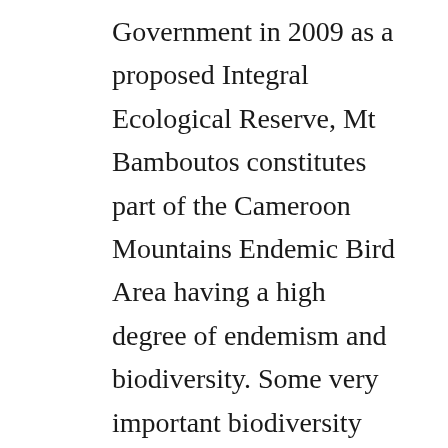Government in 2009 as a proposed Integral Ecological Reserve, Mt Bamboutos constitutes part of the Cameroon Mountains Endemic Bird Area having a high degree of endemism and biodiversity. Some very important biodiversity species restricted to this ecosystem include but not limited to the primate Preuss' Guenon (Cercopithecus preussi),  Coopers Mountain Squirrel (Paraxerus cooperi), the Banded wattle-eye, (Platysteira laticincta) and Bannerman's Turaco, (Tauraco